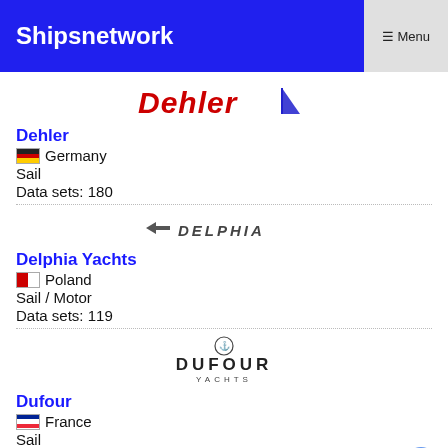Shipsnetwork ☰ Menu
[Figure (logo): Dehler brand logo in red italic bold text with a triangular sail icon]
Dehler
🇩🇪 Germany
Sail
Data sets: 180
[Figure (logo): Delphia brand logo with a forward arrow icon and DELPHIA text in italic caps]
Delphia Yachts
🇵🇱 Poland
Sail / Motor
Data sets: 119
[Figure (logo): Dufour Yachts logo with a compass/boat icon above DUFOUR YACHTS text]
Dufour
🇫🇷 France
Sail
Data sets: 250